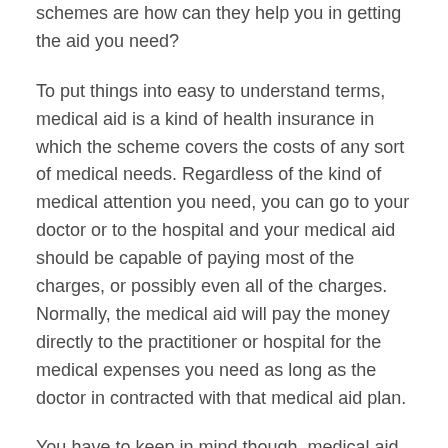schemes are how can they help you in getting the aid you need?
To put things into easy to understand terms, medical aid is a kind of health insurance in which the scheme covers the costs of any sort of medical needs. Regardless of the kind of medical attention you need, you can go to your doctor or to the hospital and your medical aid should be capable of paying most of the charges, or possibly even all of the charges. Normally, the medical aid will pay the money directly to the practitioner or hospital for the medical expenses you need as long as the doctor in contracted with that medical aid plan.
You have to keep in mind though, medical aid schemes are not to be confused with hospital insurance plans that the majority of insurance companies have available. These two things are far from the same thing. Hospital plans actually reimburse you at a rate that is set for each day of hospital care. The payments are supposed to help with daily expenses you have when you are incapable of